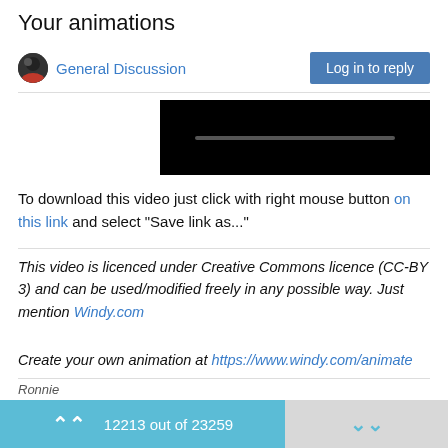Your animations
General Discussion
[Figure (screenshot): Video player thumbnail with black background and a dark progress bar]
To download this video just click with right mouse button on this link and select "Save link as..."
This video is licenced under Creative Commons licence (CC-BY 3) and can be used/modified freely in any possible way. Just mention Windy.com

Create your own animation at https://www.windy.com/animate
Ronnie
12213 out of 23259